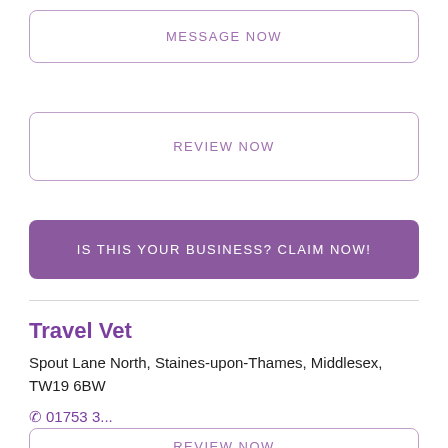MESSAGE NOW
REVIEW NOW
IS THIS YOUR BUSINESS? CLAIM NOW!
Travel Vet
Spout Lane North, Staines-upon-Thames, Middlesex, TW19 6BW
01753 3...
REVIEW NOW